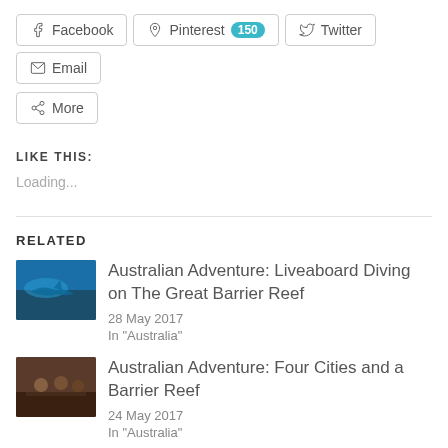Facebook
Pinterest 150
Twitter
Email
More
LIKE THIS:
Loading...
RELATED
Australian Adventure: Liveaboard Diving on The Great Barrier Reef
28 May 2017
In "Australia"
Australian Adventure: Four Cities and a Barrier Reef
24 May 2017
In "Australia"